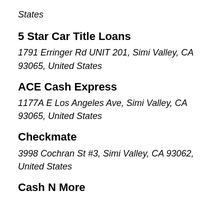States
5 Star Car Title Loans
1791 Erringer Rd UNIT 201, Simi Valley, CA 93065, United States
ACE Cash Express
1177A E Los Angeles Ave, Simi Valley, CA 93065, United States
Checkmate
3998 Cochran St #3, Simi Valley, CA 93062, United States
Cash N More